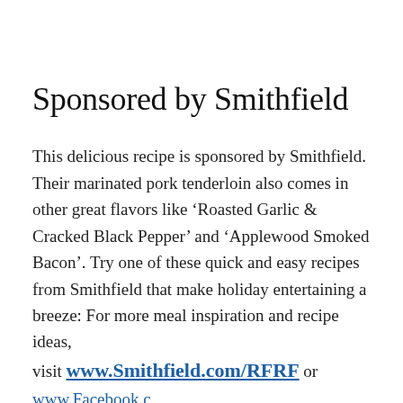Sponsored by Smithfield
This delicious recipe is sponsored by Smithfield. Their marinated pork tenderloin also comes in other great flavors like ‘Roasted Garlic & Cracked Black Pepper’ and ‘Applewood Smoked Bacon’. Try one of these quick and easy recipes from Smithfield that make holiday entertaining a breeze: For more meal inspiration and recipe ideas, visit www.Smithfield.com/RFRF or www.Facebook.com/CookingWithSmithfield.